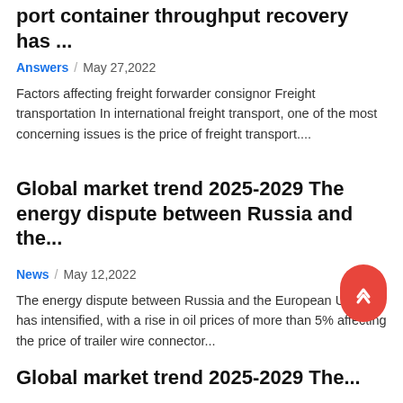port container throughput recovery has ...
Answers / May 27,2022
Factors affecting freight forwarder consignor Freight transportation In international freight transport, one of the most concerning issues is the price of freight transport....
Global market trend 2025-2029 The energy dispute between Russia and the...
News / May 12,2022
The energy dispute between Russia and the European Union has intensified, with a rise in oil prices of more than 5% affecting the price of trailer wire connector...
Global market trend 2025-2029 The...